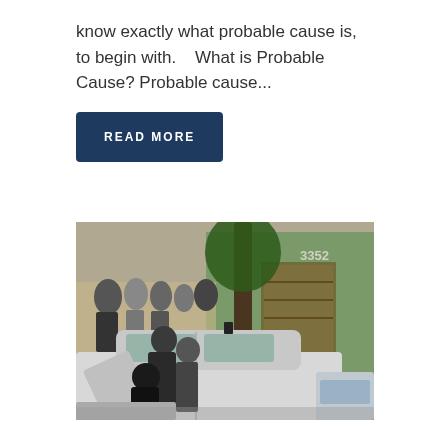know exactly what probable cause is, to begin with.    What is Probable Cause?  Probable cause...
READ MORE
[Figure (photo): Photo of a police arrest scene outside a business numbered 3352. An officer is leaning into a white sedan car with the door open, appearing to conduct a search or arrest. Several bystanders are visible in the background near a storefront with green facade.]